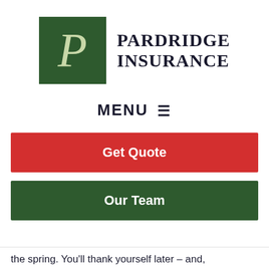[Figure (logo): Pardridge Insurance logo: dark green square with italic script letter P in light green, followed by 'PARDRIDGE INSURANCE' in bold serif text]
MENU ☰
Get Quote
Our Team
the spring. You'll thank yourself later – and,